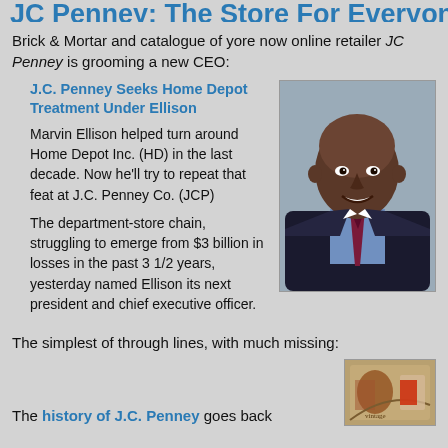JC Penney: The Store For Everyone
Brick & Mortar and catalogue of yore now online retailer JC Penney is grooming a new CEO:
J.C. Penney Seeks Home Depot Treatment Under Ellison
Marvin Ellison helped turn around Home Depot Inc. (HD) in the last decade. Now he’ll try to repeat that feat at J.C. Penney Co. (JCP)
The department-store chain, struggling to emerge from $3 billion in losses in the past 3 1/2 years, yesterday named Ellison its next president and chief executive officer.
[Figure (photo): Professional headshot portrait of Marvin Ellison, a bald Black man in a dark suit with a blue shirt and red/purple tie, smiling at the camera against a grey background.]
The simplest of through lines, with much missing:
The history of J.C. Penney goes back
[Figure (photo): Partial historical image, appears to show an old illustration or photo related to J.C. Penney history, bottom right corner of page.]